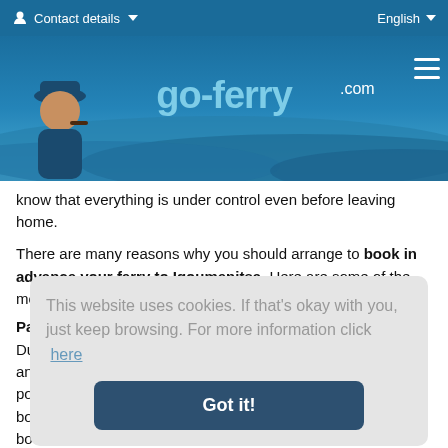Contact details ▼   English ▼
[Figure (logo): go-ferry.com website header banner with sailor mascot, logo text 'go-ferry.com', and hamburger menu icon on teal/blue gradient background]
know that everything is under control even before leaving home.
There are many reasons why you should arrange to book in advance your ferry to Igoumenitsa. Here are some of the most important:
Pay for Hotel in Igoumenitsa without using it!
Duri... and ... pop... boo... boo... with... Igou... and ... (text partially obscured by cookie popup)
This website uses cookies. If that's okay with you, just keep browsing. For more information click here
Got it!